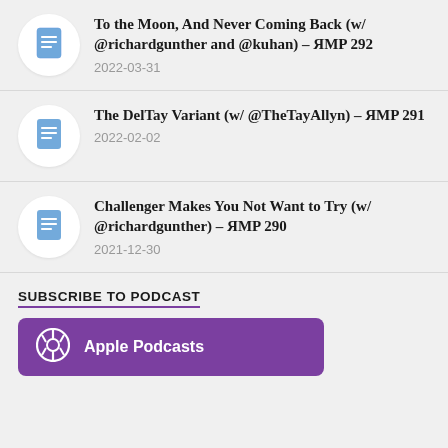To the Moon, And Never Coming Back (w/ @richardgunther and @kuhan) – ЯMP 292
2022-03-31
The DelTay Variant (w/ @TheTayAllyn) – ЯMP 291
2022-02-02
Challenger Makes You Not Want to Try (w/ @richardgunther) – ЯMP 290
2021-12-30
SUBSCRIBE TO PODCAST
Apple Podcasts